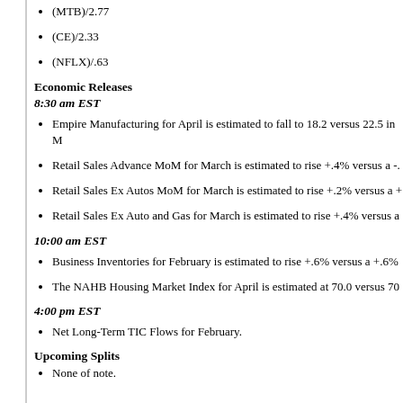(MTB)/2.77
(CE)/2.33
(NFLX)/.63
Economic Releases
8:30 am EST
Empire Manufacturing for April is estimated to fall to 18.2 versus 22.5 in M
Retail Sales Advance MoM for March is estimated to rise +.4% versus a -.
Retail Sales Ex Autos MoM for March is estimated to rise +.2% versus a +
Retail Sales Ex Auto and Gas for March is estimated to rise +.4% versus a
10:00 am EST
Business Inventories for February is estimated to rise +.6% versus a +.6%
The NAHB Housing Market Index for April is estimated at 70.0 versus 70
4:00 pm EST
Net Long-Term TIC Flows for February.
Upcoming Splits
None of note.